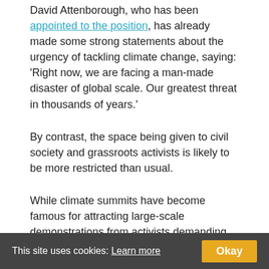David Attenborough, who has been appointed to the position, has already made some strong statements about the urgency of tackling climate change, saying: 'Right now, we are facing a man-made disaster of global scale. Our greatest threat in thousands of years.'
By contrast, the space being given to civil society and grassroots activists is likely to be more restricted than usual.
While climate summits have become famous for attracting large-scale demonstrations from activists demanding greater action, the Polish government has banned all 'spontaneous' protests in Katowice during the talks, as well as issuing a terrorism alert.
Time's running out
Despite this mixed picture, there is hope that the recent UN climate report, which spells out the hugely increased impacts
This site uses cookies: Learn more   Okay